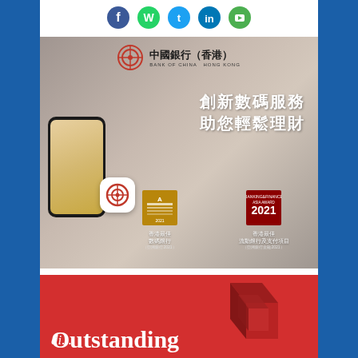[Figure (other): Social media icons row: Facebook (blue), WhatsApp (green), Twitter (blue), LinkedIn (blue), YouTube/other (green)]
[Figure (other): Bank of China (Hong Kong) advertisement. Shows BOC logo with Chinese characters 中國銀行(香港) and BANK OF CHINA HONG KONG. Mobile phone with app displayed. Text in Chinese: 創新數碼服務 助您輕鬆理財 (Innovative digital services to help you manage your finances easily). Two award badges shown: 香港最佳數碼銀行 (亞洲銀行2021) and 香港最佳流動銀行及支付項目 (亞洲銀行金融2021).]
[Figure (other): Red advertisement banner showing 3D geometric logo shapes in red/dark red and large white text reading 'Outstanding' with partial second line visible.]